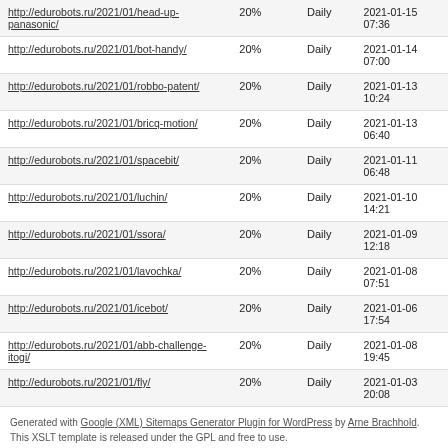| http://edurobots.ru/2021/01/head-up-panasonic/ | 20% | Daily | 2021-01-15 07:36 |
| http://edurobots.ru/2021/01/bot-handy/ | 20% | Daily | 2021-01-14 07:00 |
| http://edurobots.ru/2021/01/robbo-patent/ | 20% | Daily | 2021-01-13 10:24 |
| http://edurobots.ru/2021/01/bricq-motion/ | 20% | Daily | 2021-01-13 06:40 |
| http://edurobots.ru/2021/01/spacebit/ | 20% | Daily | 2021-01-11 06:48 |
| http://edurobots.ru/2021/01/luchin/ | 20% | Daily | 2021-01-10 14:21 |
| http://edurobots.ru/2021/01/ssora/ | 20% | Daily | 2021-01-09 12:18 |
| http://edurobots.ru/2021/01/lavochka/ | 20% | Daily | 2021-01-08 07:51 |
| http://edurobots.ru/2021/01/icebot/ | 20% | Daily | 2021-01-06 17:54 |
| http://edurobots.ru/2021/01/abb-challenge-itogi/ | 20% | Daily | 2021-01-08 19:45 |
| http://edurobots.ru/2021/01/fly/ | 20% | Daily | 2021-01-03 20:08 |
Generated with Google (XML) Sitemaps Generator Plugin for WordPress by Arne Brachhold. This XSLT template is released under the GPL and free to use. If you have problems with your sitemap please visit the plugin FAQ or the support forum.